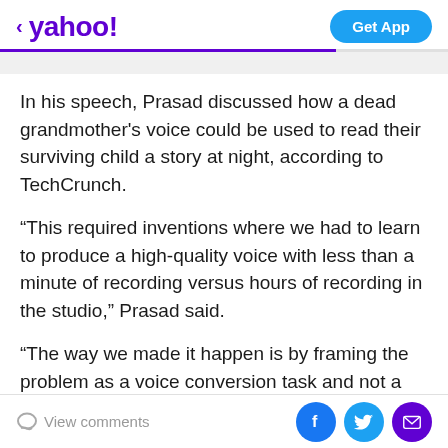< yahoo!  Get App
In his speech, Prasad discussed how a dead grandmother's voice could be used to read their surviving child a story at night, according to TechCrunch.
“This required inventions where we had to learn to produce a high-quality voice with less than a minute of recording versus hours of recording in the studio,” Prasad said.
“The way we made it happen is by framing the problem as a voice conversion task and not a speech generation path. We are unquestionably living in the golden era of
View comments